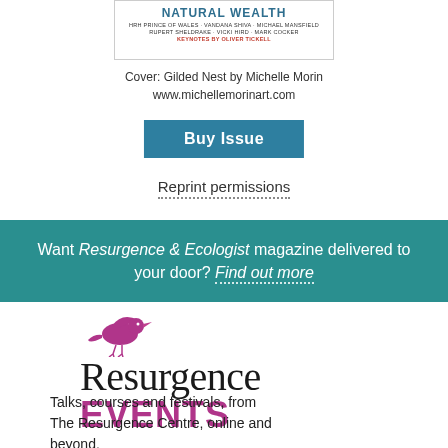[Figure (illustration): Book cover for 'Natural Wealth' magazine issue with author names and keynotes by Oliver Tickell]
Cover: Gilded Nest by Michelle Morin
www.michellemorinart.com
Buy Issue
Reprint permissions
Want Resurgence & Ecologist magazine delivered to your door? Find out more
[Figure (logo): Resurgence Events logo with purple bird, serif 'Resurgence' text, and bold magenta 'EVENTS' text]
Talks, courses and festivals, from The Resurgence Centre, online and beyond.